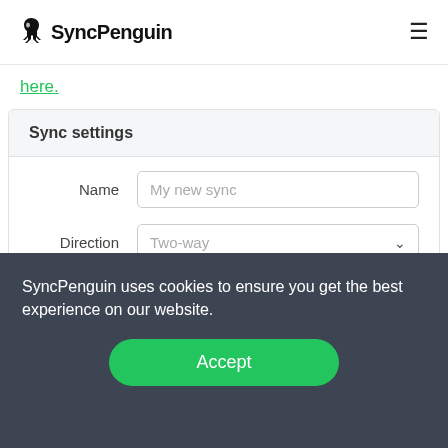SyncPenguin
here.
Sync settings
Name — My new sync (placeholder)
Direction — Two-way (placeholder)
SyncPenguin uses cookies to ensure you get the best experience on our website.
Accept